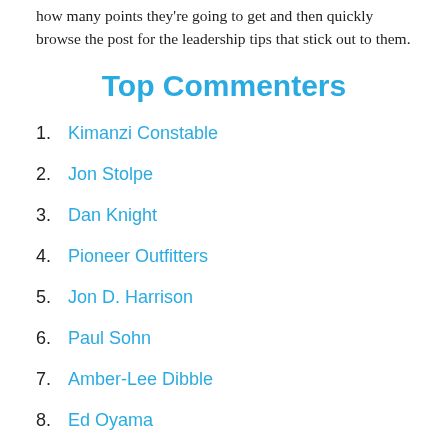how many points they're going to get and then quickly browse the post for the leadership tips that stick out to them.
Top Commenters
1. Kimanzi Constable
2. Jon Stolpe
3. Dan Knight
4. Pioneer Outfitters
5. Jon D. Harrison
6. Paul Sohn
7. Amber-Lee Dibble
8. Ed Oyama